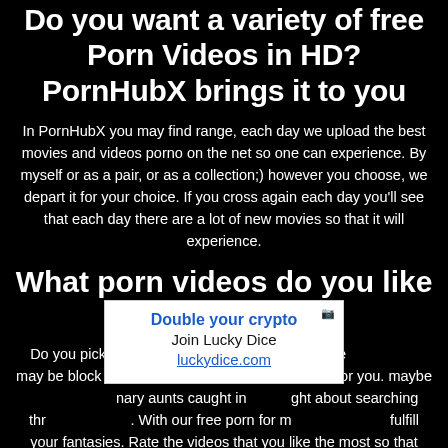Do you want a variety of free Porn Videos in HD? PornHubX brings it to you
In PornHubX you may find range, each day we upload the best movies and videos porno on the net so one can experience. By myself or as a pair, or as a collection;) however you choose, we depart it for your choice. If you cross again each day you'll see that each day there are a lot of new movies so that it will experience.
What porn videos do you like the most?
[Figure (other): Advertisement popup overlay: 'Double your crypto / Join Lucky Dice / luckydice.com' with a close button icon in top right]
Do you pick th...ameras? go to our home se... may be block girls, and all a...nd fucking for you. maybe...nary aunts caught in...ght about searching thr.... With our free porn for m...fulfill your fantasies. Rate the videos that you like the most so that they rise in the